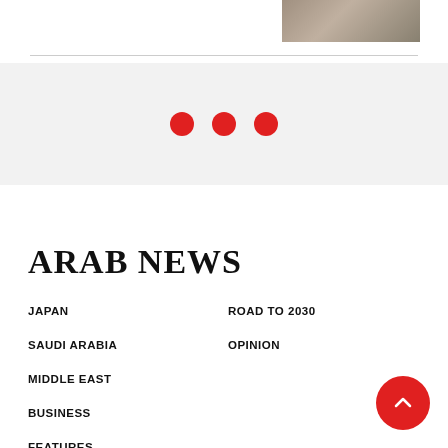[Figure (photo): Partial photo visible in top right corner, appears to show a person]
[Figure (infographic): Three red dots centered in a gray band, indicating a loading or pagination indicator]
ARAB NEWS
JAPAN
ROAD TO 2030
SAUDI ARABIA
OPINION
MIDDLE EAST
BUSINESS
FEATURES